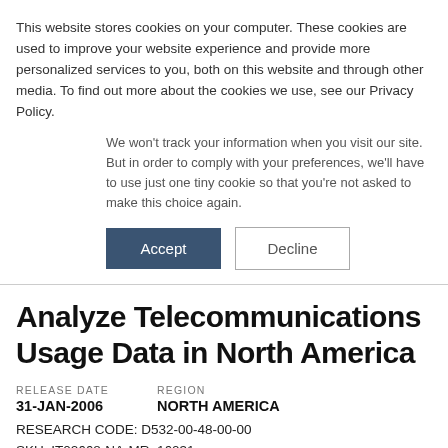This website stores cookies on your computer. These cookies are used to improve your website experience and provide more personalized services to you, both on this website and through other media. To find out more about the cookies we use, see our Privacy Policy.
We won't track your information when you visit our site. But in order to comply with your preferences, we'll have to use just one tiny cookie so that you're not asked to make this choice again.
Accept | Decline
Analyze Telecommunications Usage Data in North America
RELEASE DATE
31-JAN-2006
REGION
NORTH AMERICA
RESEARCH CODE: D532-00-48-00-00
SKU: IT02668-NA-MR_16031
Request Sample